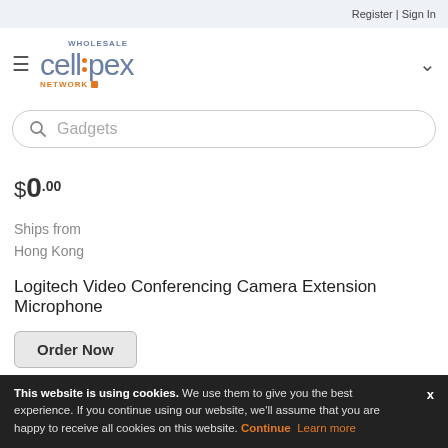Register | Sign In
[Figure (logo): Cellpex Wholesale Network logo - stylized text with orange colon dots]
Gadgets (search box placeholder)
$0.00
Ships from
Hong Kong
Logitech Video Conferencing Camera Extension Microphone
Order Now
This website is using cookies. We use them to give you the best experience. If you continue using our website, we'll assume that you are happy to receive all cookies on this website. Continue Learn more